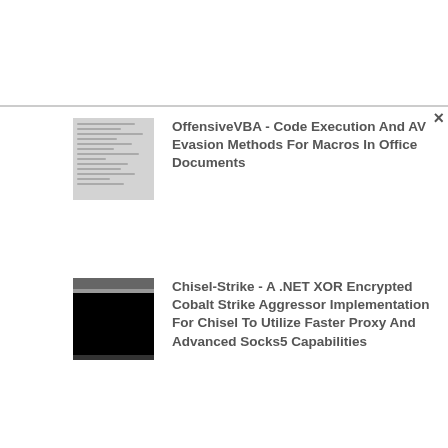[Figure (screenshot): Thumbnail screenshot of code/text document with gray lines representing code]
OffensiveVBA - Code Execution And AV Evasion Methods For Macros In Office Documents
[Figure (screenshot): Thumbnail screenshot of terminal/command window with dark/black background]
Chisel-Strike - A .NET XOR Encrypted Cobalt Strike Aggressor Implementation For Chisel To Utilize Faster Proxy And Advanced Socks5 Capabilities